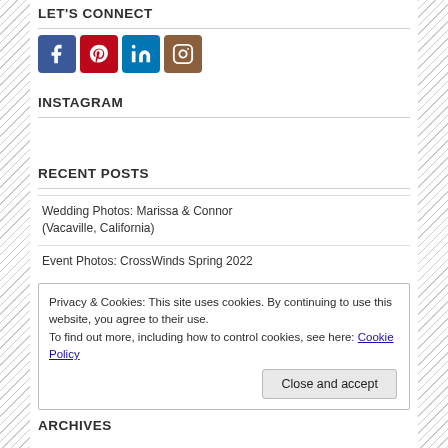LET'S CONNECT
[Figure (other): Social media icons: Facebook (blue), Pinterest (red), LinkedIn (teal/blue), Instagram (brown)]
INSTAGRAM
RECENT POSTS
Wedding Photos: Marissa & Connor (Vacaville, California)
Event Photos: CrossWinds Spring 2022
Privacy & Cookies: This site uses cookies. By continuing to use this website, you agree to their use.
To find out more, including how to control cookies, see here: Cookie Policy
Close and accept
ARCHIVES